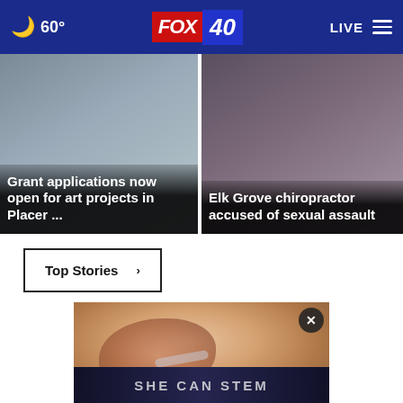60° FOX 40 LIVE
[Figure (screenshot): News card: Grant applications now open for art projects in Placer ...]
[Figure (screenshot): News card: Elk Grove chiropractor accused of sexual assault]
Top Stories ›
[Figure (photo): Close-up photo of a human ear with cotton swab, with X close button overlay]
SHE CAN STEM